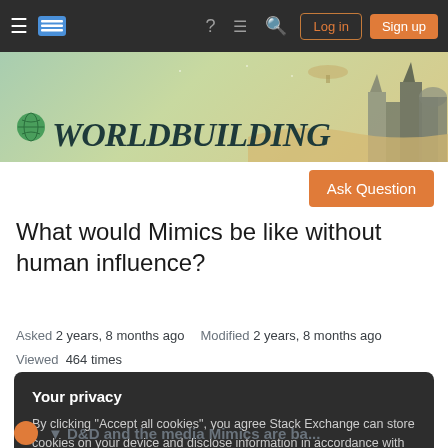Worldbuilding Stack Exchange navigation bar with Log in and Sign up buttons
[Figure (illustration): Worldbuilding Stack Exchange banner with logo title and fantasy cityscape illustration]
What would Mimics be like without human influence?
Asked 2 years, 8 months ago   Modified 2 years, 8 months ago
Viewed 464 times
Your privacy
By clicking "Accept all cookies", you agree Stack Exchange can store cookies on your device and disclose information in accordance with our Cookie Policy.
Accept all cookies   Customize settings